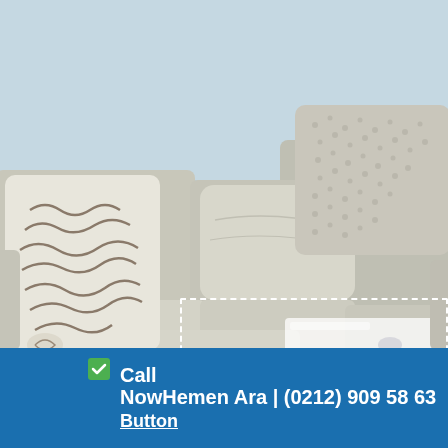[Figure (photo): Close-up photo of a light beige/cream sectional sofa with decorative throw pillows — one with abstract wavy line pattern on the left, one plain beige cushion in the center, and one textured patterned pillow on the upper right. Light blue wall in background. A white coffee table is partially visible in the lower right with a dashed white rectangle overlaid.]
Call Now Hemen Ara | (0212) 909 58 63
Button